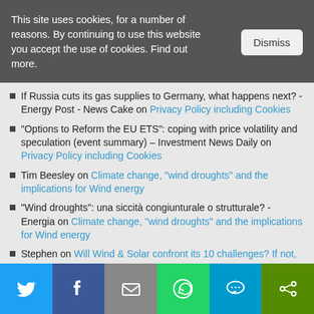This site uses cookies, for a number of reasons. By continuing to use this website you accept the use of cookies. Find out more.
If Russia cuts its gas supplies to Germany, what happens next? - Energy Post - News Cake on Privacy Policy including Cookies
“Options to Reform the EU ETS”: coping with price volatility and speculation (event summary) – Investment News Daily on Privacy Policy including Cookies
Tim Beesley on Climate change, “wind droughts” and the implications for Wind energy
“Wind droughts”: una siccità congiunturale o strutturale? - Energia on Climate change, “wind droughts” and the implications for Wind energy
Stephen on Will Wind & Solar confront its 10 challenges? If not, we need Nuclear, CCS, and more
[Figure (infographic): Social sharing bar with icons for Twitter, Facebook, Email, WhatsApp, SMS, and Share/Other, each in its own colored cell.]